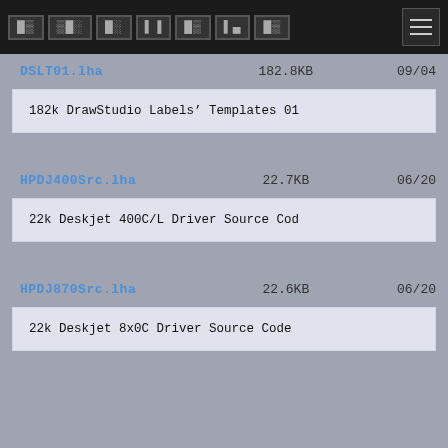MENULBOOK [hamburger menu]
DSLT01.lha   182.8KB   09/04
182k DrawStudio Labels' Templates 01
HPDJ400Src.lha   22.7KB   06/20
22k Deskjet 400C/L Driver Source Code
HPDJ870Src.lha   22.6KB   06/20
22k Deskjet 8x0C Driver Source Code